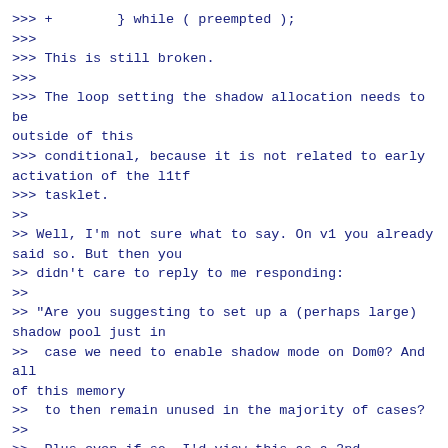>>> +        } while ( preempted );
>>>
>>> This is still broken.
>>>
>>> The loop setting the shadow allocation needs to be outside of this
>>> conditional, because it is not related to early activation of the l1tf
>>> tasklet.
>>
>> Well, I'm not sure what to say. On v1 you already said so. But then you
>> didn't care to reply to me responding:
>>
>> "Are you suggesting to set up a (perhaps large) shadow pool just in
>>  case we need to enable shadow mode on Dom0? And all of this memory
>>  to then remain unused in the majority of cases?
>>
>>  Plus even if so, I'd view this as a 2nd, independent step, largely
>>  orthogonal to the handling of "dom0=shadow". If somebody really
>>  wanted that, I think this should be driven by an explicit setting
>>  of the shadow pool size, indicating the admin is willing to waste
>>  the memory.
>